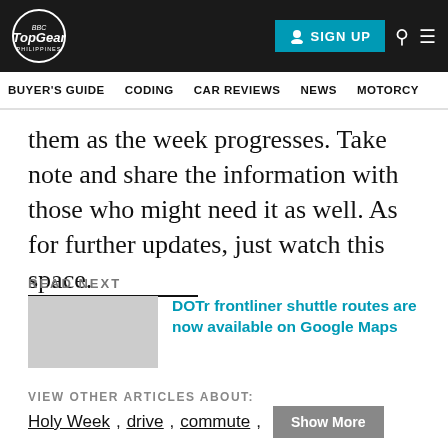Top Gear Philippines — BUYER'S GUIDE | CODING | CAR REVIEWS | NEWS | MOTORCY
them as the week progresses. Take note and share the information with those who might need it as well. As for further updates, just watch this space.
READ NEXT
DOTr frontliner shuttle routes are now available on Google Maps
VIEW OTHER ARTICLES ABOUT:
Holy Week, drive, commute, Show More